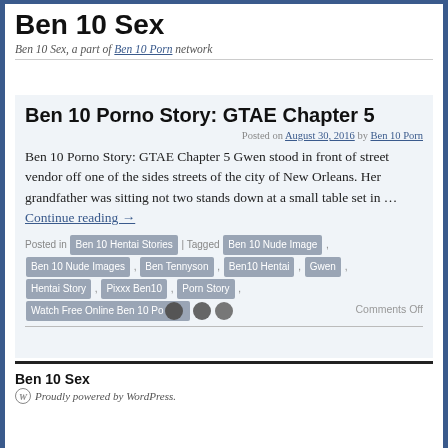Ben 10 Sex
Ben 10 Sex, a part of Ben 10 Porn network
Ben 10 Porno Story: GTAE Chapter 5
Posted on August 30, 2016 by Ben 10 Porn
Ben 10 Porno Story: GTAE Chapter 5 Gwen stood in front of street vendor off one of the sides streets of the city of New Orleans. Her grandfather was sitting not two stands down at a small table set in … Continue reading →
Posted in Ben 10 Hentai Stories | Tagged Ben 10 Nude Image , Ben 10 Nude Images , Ben Tennyson , Ben10 Hentai , Gwen , Hentai Story , Pixxx Ben10 , Porn Story , Watch Free Online Ben 10 Po… Comments Off
Ben 10 Sex
Proudly powered by WordPress.